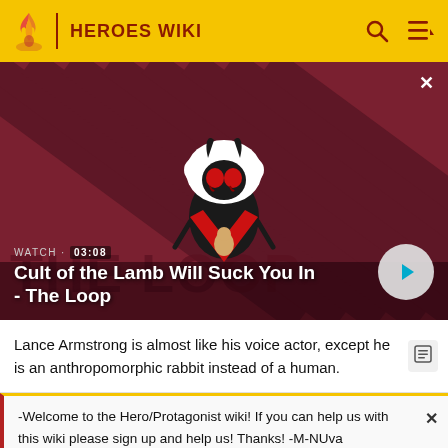HEROES WIKI
[Figure (screenshot): Video thumbnail for 'Cult of the Lamb Will Suck You In - The Loop' showing a cartoon lamb character with red eyes on a striped red/dark background. Shows WATCH · 03:08 label and a play button.]
Lance Armstrong is almost like his voice actor, except he is an anthropomorphic rabbit instead of a human.
-Welcome to the Hero/Protagonist wiki! If you can help us with this wiki please sign up and help us! Thanks! -M-NUva